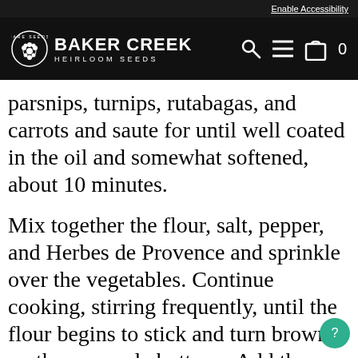Enable Accessibility
[Figure (logo): Baker Creek Heirloom Seeds logo with navigation icons (search, menu, cart) on dark background]
parsnips, turnips, rutabagas, and carrots and saute for until well coated in the oil and somewhat softened, about 10 minutes.
Mix together the flour, salt, pepper, and Herbes de Provence and sprinkle over the vegetables. Continue cooking, stirring frequently, until the flour begins to stick and turn brown on the casserole bottom.  Add the wine and deglaze the casserole.  After a minute or two add in the stock, water, bay leaves, dry tomato strips, half of the